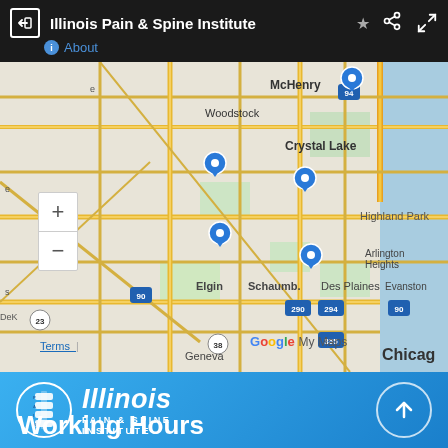Illinois Pain & Spine Institute — About
[Figure (map): Google My Maps showing locations of Illinois Pain & Spine Institute across northern Illinois / Chicago suburbs. Blue location pins visible near Crystal Lake, McHenry area, Schaumburg, and other locations. Map shows roads including interstates 90, 94, 290, 294, 355. Cities labeled include Woodstock, Crystal Lake, Elgin, Schaumburg, Des Plaines, Arlington Heights, Highland Park, Evanston, Geneva, Chicago.]
[Figure (logo): Illinois Pain & Spine Institute logo — white circle outline with spine/vertebra icon, italic 'Illinois' in large white text, 'PAIN & SPINE INSTITUTE' in small white caps below]
Working Hours